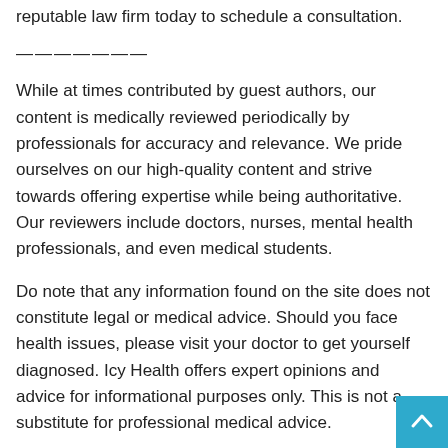reputable law firm today to schedule a consultation.
———————
While at times contributed by guest authors, our content is medically reviewed periodically by professionals for accuracy and relevance. We pride ourselves on our high-quality content and strive towards offering expertise while being authoritative. Our reviewers include doctors, nurses, mental health professionals, and even medical students.
Do note that any information found on the site does not constitute legal or medical advice. Should you face health issues, please visit your doctor to get yourself diagnosed. Icy Health offers expert opinions and advice for informational purposes only. This is not a substitute for professional medical advice.